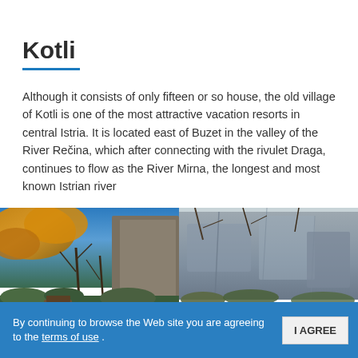Kotli
Although it consists of only fifteen or so house, the old village of Kotli is one of the most attractive vacation resorts in central Istria. It is located east of Buzet in the valley of the River Rečina, which after connecting with the rivulet Draga, continues to flow as the River Mirna, the longest and most known Istrian river
[Figure (photo): Riverside scene with autumn orange foliage, bare trees, rocky walls, and a small water mill structure reflecting in calm green water.]
[Figure (photo): Rocky cliff face over a calm turquoise river bend with bare trees and shrubs along the bank.]
By continuing to browse the Web site you are agreeing to the terms of use .